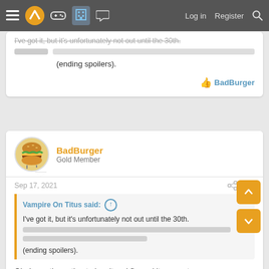Navigation bar with logo, icons, Log in, Register, Search
I've got it, but it's unfortunately not out until the 30th.
(ending spoilers).
BadBurger
BadBurger — Gold Member
Sep 17, 2021  #70
Vampire On Titus said: ↑

I've got it, but it's unfortunately not out until the 30th.

(ending spoilers).
Oh, I saw the option to buy it so I figured it was out.